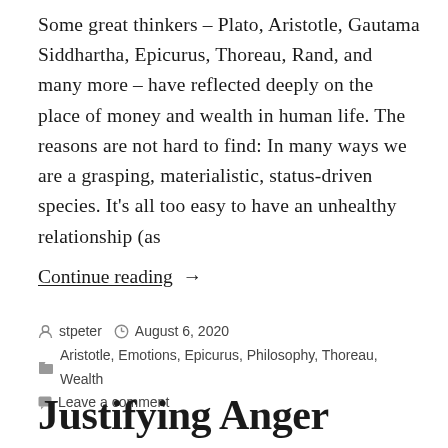Some great thinkers – Plato, Aristotle, Gautama Siddhartha, Epicurus, Thoreau, Rand, and many more – have reflected deeply on the place of money and wealth in human life. The reasons are not hard to find: In many ways we are a grasping, materialistic, status-driven species. It's all too easy to have an unhealthy relationship (as
Continue reading  →
stpeter  August 6, 2020
Aristotle, Emotions, Epicurus, Philosophy, Thoreau, Wealth
Leave a comment
Justifying Anger